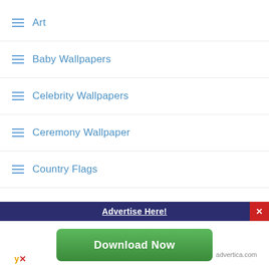Art
Baby Wallpapers
Celebrity Wallpapers
Ceremony Wallpaper
Country Flags
Flower Wallpapers
Food and Drink Pictures
Gadget
Haircut
Advertise Here!
Download Now
advertica.com